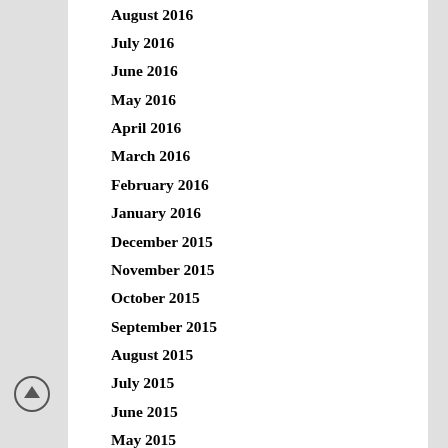August 2016
July 2016
June 2016
May 2016
April 2016
March 2016
February 2016
January 2016
December 2015
November 2015
October 2015
September 2015
August 2015
July 2015
June 2015
May 2015
April 2015
March 2015
February 2015
January 2015
December 2014